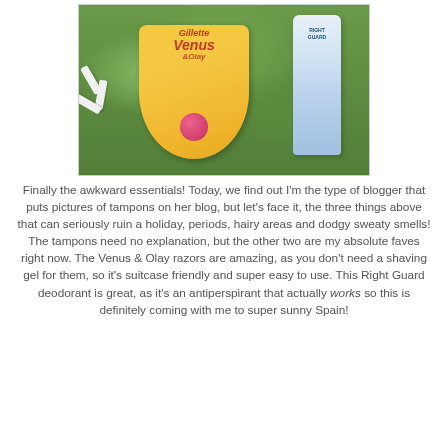[Figure (photo): Photo of Gillette Venus & Olay razor packaging (yellow box), Right Guard deodorant spray can, and scattered tampons on grass]
Finally the awkward essentials! Today, we find out I'm the type of blogger that puts pictures of tampons on her blog, but let's face it, the three things above that can seriously ruin a holiday, periods, hairy areas and dodgy sweaty smells! The tampons need no explanation, but the other two are my absolute faves right now. The Venus & Olay razors are amazing, as you don't need a shaving gel for them, so it's suitcase friendly and super easy to use. This Right Guard deodorant is great, as it's an antiperspirant that actually works so this is definitely coming with me to super sunny Spain!